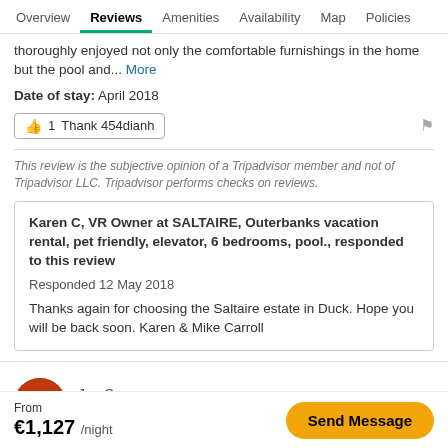Overview | Reviews | Amenities | Availability | Map | Policies
thoroughly enjoyed not only the comfortable furnishings in the home but the pool and... More
Date of stay: April 2018
1 Thank 454dianh
This review is the subjective opinion of a Tripadvisor member and not of Tripadvisor LLC. Tripadvisor performs checks on reviews.
Karen C, VR Owner at SALTAIRE, Outerbanks vacation rental, pet friendly, elevator, 6 bedrooms, pool., responded to this review
Responded 12 May 2018
Thanks again for choosing the Saltaire estate in Duck. Hope you will be back soon. Karen & Mike Carroll
Jan S
Reviewed 23 May 2017
From €1,127 /night
Send Message